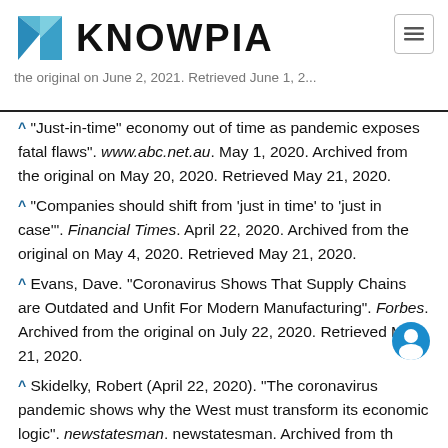KNOWPIA
^ "Just-in-time" economy out of time as pandemic exposes fatal flaws". www.abc.net.au. May 1, 2020. Archived from the original on May 20, 2020. Retrieved May 21, 2020.
^ "Companies should shift from 'just in time' to 'just in case'". Financial Times. April 22, 2020. Archived from the original on May 4, 2020. Retrieved May 21, 2020.
^ Evans, Dave. "Coronavirus Shows That Supply Chains are Outdated and Unfit For Modern Manufacturing". Forbes. Archived from the original on July 22, 2020. Retrieved May 21, 2020.
^ Skidelky, Robert (April 22, 2020). "The coronavirus pandemic shows why the West must transform its economic logic". newstatesman. newstatesman. Archived from the original on June 2, 2021. Retrieved September 30, 2020.
^ a b "What Is the Criticism of Lean Manufacturing?".